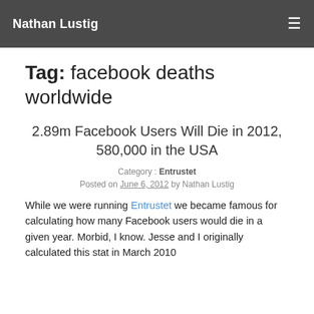Nathan Lustig
Tag: facebook deaths worldwide
2.89m Facebook Users Will Die in 2012, 580,000 in the USA
Category : Entrustet
Posted on June 6, 2012 by Nathan Lustig
While we were running Entrustet we became famous for calculating how many Facebook users would die in a given year. Morbid, I know. Jesse and I originally calculated this stat in March 2010